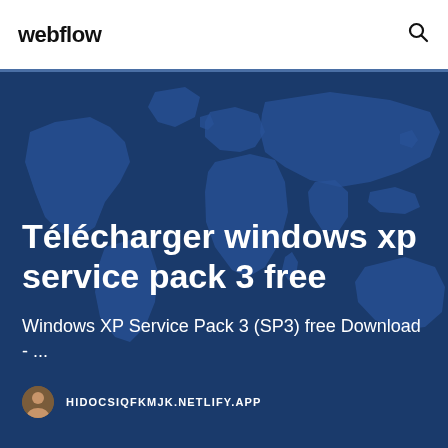webflow
Télécharger windows xp service pack 3 free
Windows XP Service Pack 3 (SP3) free Download - ...
HIDOCSIQFKMJK.NETLIFY.APP